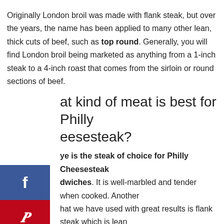Originally London broil was made with flank steak, but over the years, the name has been applied to many other lean, thick cuts of beef, such as top round. Generally, you will find London broil being marketed as anything from a 1-inch steak to a 4-inch roast that comes from the sirloin or round sections of beef.
What kind of meat is best for Philly Cheesesteak?
Ribeye is the steak of choice for Philly Cheesesteak sandwiches. It is well-marbled and tender when cooked. Another that we have used with great results is flank steak which is lean but very tender when cut against the grain. You will need a little extra oil on your cooking surface if using flank steak.
What is a steak sanga?
Ribeye is the steak of choice for Philly Cheesesteak